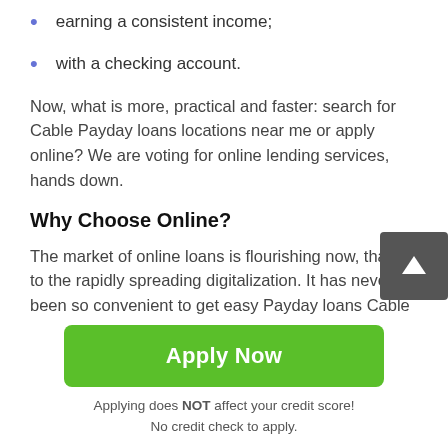earning a consistent income;
with a checking account.
Now, what is more, practical and faster: search for Cable Payday loans locations near me or apply online? We are voting for online lending services, hands down.
Why Choose Online?
The market of online loans is flourishing now, thanks to the rapidly spreading digitalization. It has never been so convenient to get easy Payday loans Cable in Wisconsin, WI: now you can do it on your laptop or smartphone. There is no need to go outside if you want to borrow some extra
Apply Now
Applying does NOT affect your credit score!
No credit check to apply.